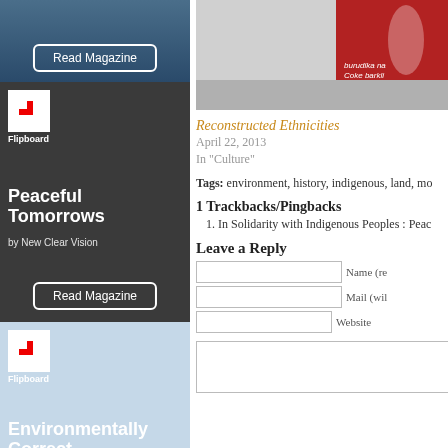[Figure (photo): Magazine card: dark blue background with Read Magazine button]
[Figure (photo): Flipboard magazine card: Peaceful Tomorrows by New Clear Vision, dark background with bird]
[Figure (photo): Flipboard magazine card: Environmentally Correct by New Clear Vision, children around globe]
[Figure (photo): Billboard photo showing Coca-Cola advertisement and map of Africa with text burudika na Coke barkli]
Reconstructed Ethnicities
April 22, 2013
In "Culture"
Tags: environment, history, indigenous, land, mo...
1 Trackbacks/Pingbacks
1. In Solidarity with Indigenous Peoples : Peac...
Leave a Reply
Name (re...
Mail (wil...
Website